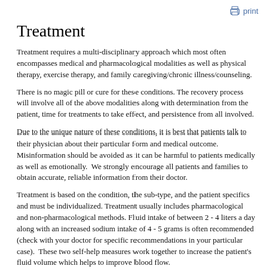print
Treatment
Treatment requires a multi-disciplinary approach which most often encompasses medical and pharmacological modalities as well as physical therapy, exercise therapy, and family caregiving/chronic illness/counseling.
There is no magic pill or cure for these conditions. The recovery process will involve all of the above modalities along with determination from the patient, time for treatments to take effect, and persistence from all involved.
Due to the unique nature of these conditions, it is best that patients talk to their physician about their particular form and medical outcome.  Misinformation should be avoided as it can be harmful to patients medically as well as emotionally.  We strongly encourage all patients and families to obtain accurate, reliable information from their doctor.
Treatment is based on the condition, the sub-type, and the patient specifics and must be individualized. Treatment usually includes pharmacological and non-pharmacological methods. Fluid intake of between 2 - 4 liters a day along with an increased sodium intake of 4 - 5 grams is often recommended (check with your doctor for specific recommendations in your particular case).  These two self-help measures work together to increase the patient's fluid volume which helps to improve blood flow.